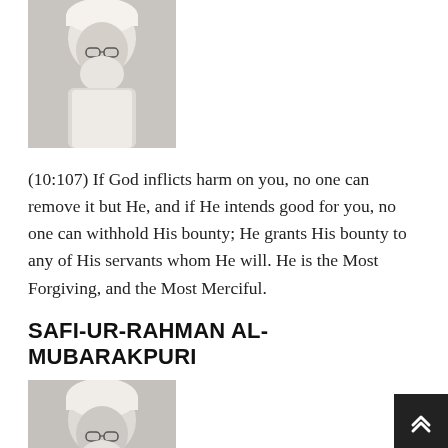[Figure (photo): Black and white photo of an elderly man with white turban and white beard wearing glasses]
(10:107) If God inflicts harm on you, no one can remove it but He, and if He intends good for you, no one can withhold His bounty; He grants His bounty to any of His servants whom He will. He is the Most Forgiving, and the Most Merciful.
SAFI-UR-RAHMAN AL-MUBARAKPURI
[Figure (photo): Black and white photo of an elderly man with white turban and white beard wearing glasses]
(10:107) And if Allah touches you with harm, there is none who can lift it but He. And if He intends good for you, then none can repel His